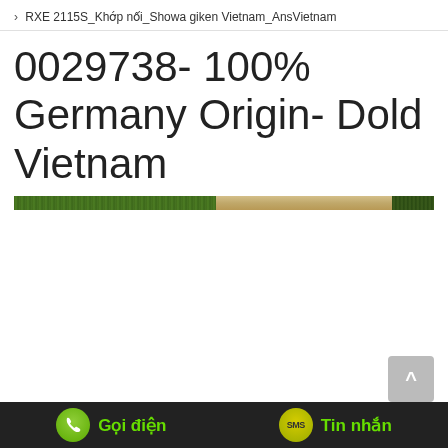› RXE 2115S_Khớp nối_Showa giken Vietnam_AnsVietnam
0029738- 100% Germany Origin- Dold Vietnam
[Figure (illustration): Decorative horizontal divider bar with green grass texture on left, tan/gold center, and dark green on right]
Gọi điện   Tin nhắn